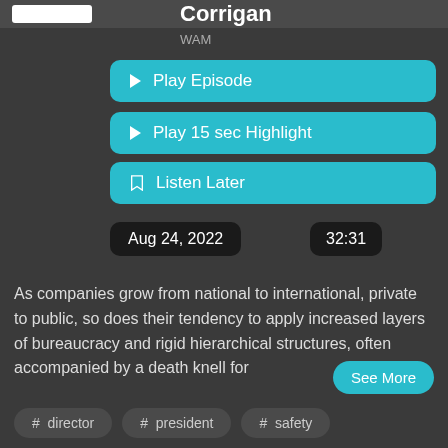Corrigan
WAM
Play Episode
Play 15 sec Highlight
Listen Later
Aug 24, 2022
32:31
As companies grow from national to international, private to public, so does their tendency to apply increased layers of bureaucracy and rigid hierarchical structures, often accompanied by a death knell for
See More
# director
# president
# safety